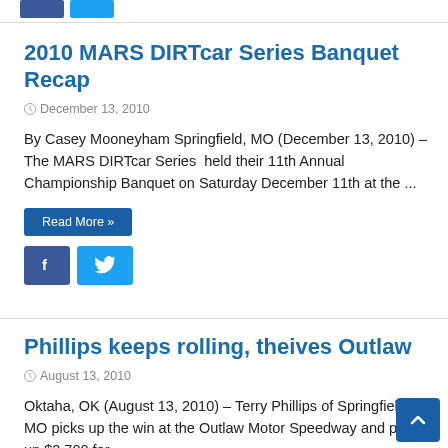[Figure (other): Small Facebook and Twitter social share buttons at top]
2010 MARS DIRTcar Series Banquet Recap
December 13, 2010
By Casey Mooneyham Springfield, MO (December 13, 2010) – The MARS DIRTcar Series  held their 11th Annual Championship Banquet on Saturday December 11th at the ...
Read More »
[Figure (other): Facebook and Twitter social share buttons]
Phillips keeps rolling, theives Outlaw
August 13, 2010
Oktaha, OK (August 13, 2010) – Terry Phillips of Springfield, MO picks up the win at the Outlaw Motor Speedway and picks up $2,700 for ...
Read More »